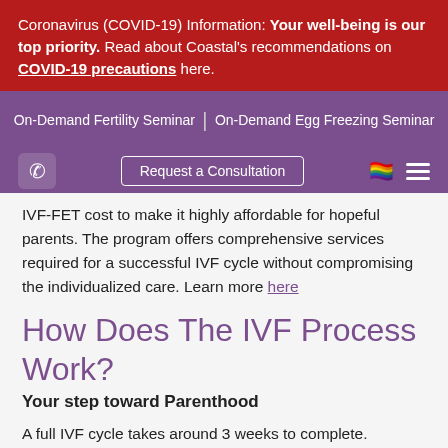Coronavirus (COVID-19) Information: Your well-being is our top priority. Read about Coastal's recommendations on COVID-19 precautions here.
On-Demand Fertility Seminar | On-Demand Egg Freezing Seminar
Request a Consultation
IVF-FET cost to make it highly affordable for hopeful parents. The program offers comprehensive services required for a successful IVF cycle without compromising the individualized care. Learn more here
How Does The IVF Process Work?
Your step toward Parenthood
A full IVF cycle takes around 3 weeks to complete. However, these steps can be broken down into several parts based on